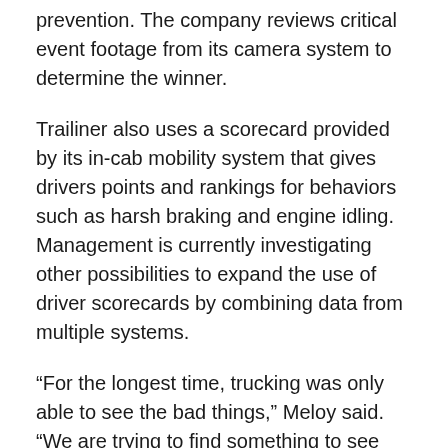prevention. The company reviews critical event footage from its camera system to determine the winner.
Trailiner also uses a scorecard provided by its in-cab mobility system that gives drivers points and rankings for behaviors such as harsh braking and engine idling. Management is currently investigating other possibilities to expand the use of driver scorecards by combining data from multiple systems.
“For the longest time, trucking was only able to see the bad things,” Meloy said. “We are trying to find something to see the good things.”
These and other efforts are moving the needle. Last year, the fleet’s driver turnover rate fell to 39%. The unexpected turn of events of the COVID-19